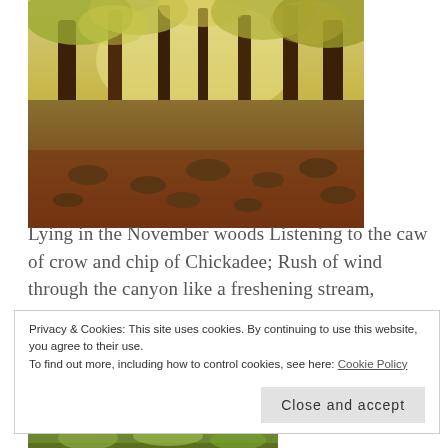[Figure (photo): Autumn woodland scene with tall trees, moss-covered rocks, and fallen leaves on the forest floor. Warm golden light filters through the canopy.]
Lying in the November woods Listening to the caw of crow and chip of Chickadee; Rush of wind through the canyon like a freshening stream, Pondering grey beginnings and ashen endings, A soft snow of fallen whilst in the hills
Privacy & Cookies: This site uses cookies. By continuing to use this website, you agree to their use.
To find out more, including how to control cookies, see here: Cookie Policy
Close and accept
[Figure (photo): Bottom portion of another woodland/nature photograph, partially visible at the bottom of the page.]